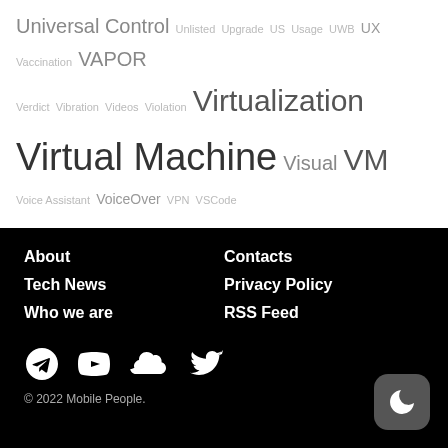Universal Control Unlisted Upgrade US Usage UWB UX Vaccination VAPOR Verdict Vibration Videos Violation Virtualization Virtual Machine Visual VM Voice Assistant VoiceOver VPN VSCode Vulnerability Wallet Watch WatchKit WeatherKit Web WebKit WebRTC Weekend Whitepaper Widgets WiFi Windows Winners Worldwide WWDC WWDC22 Xcode Xcode Cloud XCTest Zero-click Zero-day
About
Tech News
Who we are
Contacts
Privacy Policy
RSS Feed
© 2022 Mobile People.